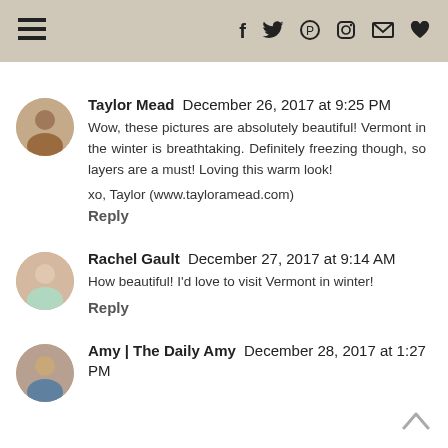≡  f  🐦  ℗  ⊙  ✉  ♥
(fragment)
Taylor Mead  December 26, 2017 at 9:25 PM
Wow, these pictures are absolutely beautiful! Vermont in the winter is breathtaking. Definitely freezing though, so layers are a must! Loving this warm look!

xo, Taylor (www.tayloramead.com)
Reply
Rachel Gault  December 27, 2017 at 9:14 AM
How beautiful! I'd love to visit Vermont in winter!
Reply
Amy | The Daily Amy  December 28, 2017 at 1:27 PM